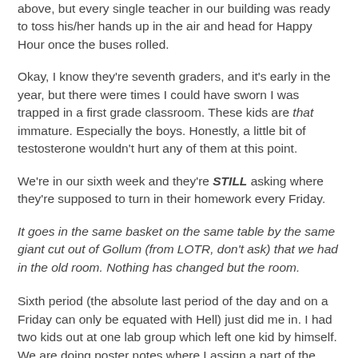above, but every single teacher in our building was ready to toss his/her hands up in the air and head for Happy Hour once the buses rolled.
Okay, I know they're seventh graders, and it's early in the year, but there were times I could have sworn I was trapped in a first grade classroom. These kids are that immature. Especially the boys. Honestly, a little bit of testosterone wouldn't hurt any of them at this point.
We're in our sixth week and they're STILL asking where they're supposed to turn in their homework every Friday.
It goes in the same basket on the same table by the same giant cut out of Gollum (from LOTR, don't ask) that we had in the old room. Nothing has changed but the room.
Sixth period (the absolute last period of the day and on a Friday can only be equated with Hell) just did me in. I had two kids out at one lab group which left one kid by himself. We are doing poster notes where I assign a part of the